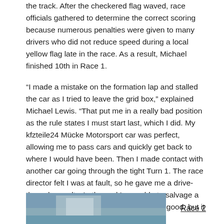the track. After the checkered flag waved, race officials gathered to determine the correct scoring because numerous penalties were given to many drivers who did not reduce speed during a local yellow flag late in the race. As a result, Michael finished 10th in Race 1.
“I made a mistake on the formation lap and stalled the car as I tried to leave the grid box,” explained Michael Lewis. “That put me in a really bad position as the rule states I must start last, which I did. My kfzteile24 Mücke Motorsport car was perfect, allowing me to pass cars and quickly get back to where I would have been. Then I made contact with another car going through the tight Turn 1. The race director felt I was at fault, so he gave me a drive-through penalty. In the end I was able to salvage a top-10 finish and I knew that my car was good, but it was crazy out there.”
[Figure (photo): Partial photo of a racing venue or building, shown at the bottom left of the page.]
Race 2